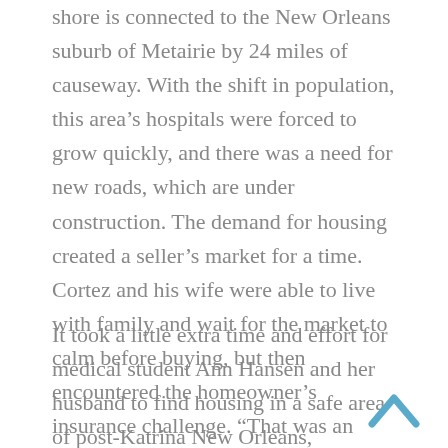shore is connected to the New Orleans suburb of Metairie by 24 miles of causeway. With the shift in population, this area's hospitals were forced to grow quickly, and there was a need for new roads, which are under construction. The demand for housing created a seller's market for a time. Cortez and his wife were able to live with family and wait for the market to calm before buying, but then encountered the homeowner's insurance challenge. “That was an interesting ordeal,” says Cortez. They ultimately combined coverage from a company with a policy from a state-sponsored plan.
It took a little extra time and effort for medical student Ann Hansen and her husband to find housing in a safe area of post-Katrina New Orleans,